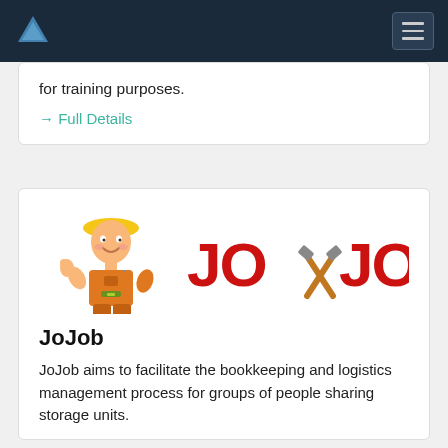Navigation bar with logo and menu
for training purposes.
→ Full Details
[Figure (logo): JoJob logo featuring a cartoon construction worker in orange overalls and yellow hard hat alongside bold red text 'JO JOB' with crossed hammer/pick icons between the words]
JoJob
JoJob aims to facilitate the bookkeeping and logistics management process for groups of people sharing storage units.